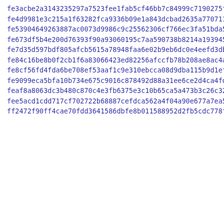fe3acbe2a3143235297a7523fee1fab5cf46bb7c84999c7190275fda991a5
fe4d9981e3c215a1f63282fca9336b09e1a843dcbad2635a770711a327ad6
fe53904649263887ac0073d9986c9c25562306cf766ec3fa51bda565de52a3
fe673df5b4e200d76393f90a93060195c7aa590738b8214a1939457f582cb
fe7d35d597bdf805afcb5615a78948faa6e02b9eb6dc0e4eefd3db1ba4ad4
fe84c16be8b0f2cb1f6a83066423ed82256afccfb78b208ae8ac4ac6c9af5
fe8cf56fd4fda6be708ef53aaf1c9e310ebcca08d9dba115b9d1ef84a525e
fe9099eca5bfa10b734e675c9016c878492d88a31ee6ce2d4ca4fd6a374df
feaf8a8063dc3b480c870c4e3fb6375e3c10b65ca5a473b3c26c32b39427d
fee5acd1cdd717cf702722b68887cefdca562a4f04a90e677a7ea5d376c3d
ff2472f90ff4cae70fdd3641586dbfe8b011588952d2fb5cdc778f9854feb